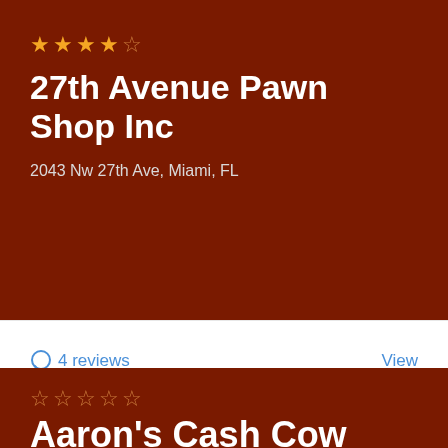27th Avenue Pawn Shop Inc
2043 Nw 27th Ave, Miami, FL
4 reviews
View
Aaron's Cash Cow Pawn Shop